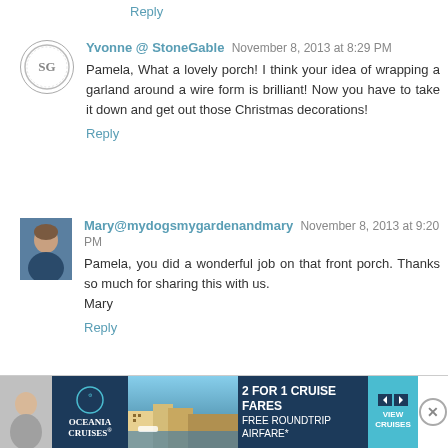Reply
Yvonne @ StoneGable November 8, 2013 at 8:29 PM
Pamela, What a lovely porch! I think your idea of wrapping a garland around a wire form is brilliant! Now you have to take it down and get out those Christmas decorations!
Reply
Mary@mydogsmygardenandmary November 8, 2013 at 9:20 PM
Pamela, you did a wonderful job on that front porch. Thanks so much for sharing this with us.
Mary
Reply
[Figure (infographic): Oceania Cruises advertisement banner: 2 for 1 cruise fares, free roundtrip airfare with view cruises button and close button]